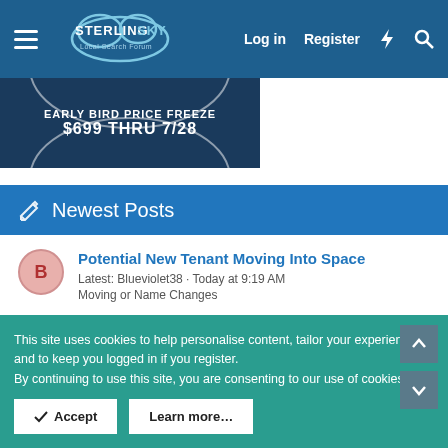Sterling Sky Local Search Forum — Log in | Register
[Figure (screenshot): Banner ad: EARLY BIRD PRICE FREEZE $699 THRU 7/28 on dark blue background]
Newest Posts
Potential New Tenant Moving Into Space
Latest: Blueviolet38 · Today at 9:19 AM
Moving or Name Changes
video verification required
Latest: MattJarrett007 · Today at 7:59 AM
Google Business Profile (GBP) & Google Maps
This site uses cookies to help personalise content, tailor your experience and to keep you logged in if you register.
By continuing to use this site, you are consenting to our use of cookies.